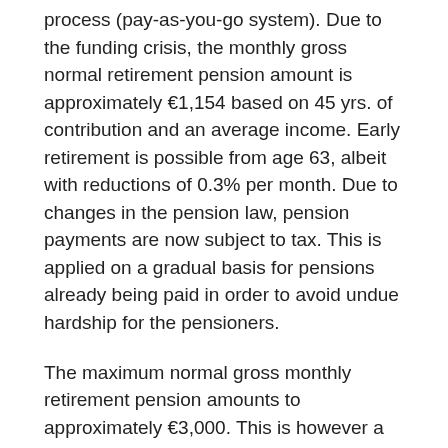process (pay-as-you-go system). Due to the funding crisis, the monthly gross normal retirement pension amount is approximately €1,154 based on 45 yrs. of contribution and an average income. Early retirement is possible from age 63, albeit with reductions of 0.3% per month. Due to changes in the pension law, pension payments are now subject to tax. This is applied on a gradual basis for pensions already being paid in order to avoid undue hardship for the pensioners.
The maximum normal gross monthly retirement pension amounts to approximately €3,000. This is however a theoretical figure since it is almost unachievable.
Unemployment insurance